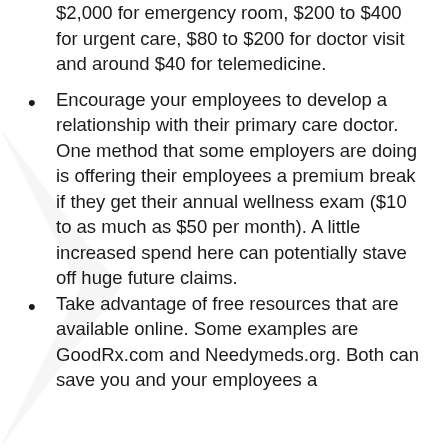$2,000 for emergency room, $200 to $400 for urgent care, $80 to $200 for doctor visit and around $40 for telemedicine.
Encourage your employees to develop a relationship with their primary care doctor. One method that some employers are doing is offering their employees a premium break if they get their annual wellness exam ($10 to as much as $50 per month). A little increased spend here can potentially stave off huge future claims.
Take advantage of free resources that are available online. Some examples are GoodRx.com and Needymeds.org. Both can save you and your employees a